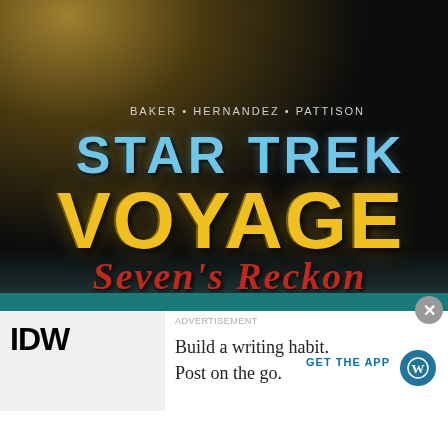[Figure (illustration): Star Trek Voyager comic book cover showing the title 'STAR TREK VOYAGER: Seven's Reckoning' with authors Baker, Hernandez, Pattison. Dark background with golden/teal uniform fabric visible at top. IDW publisher logo visible at bottom left.]
BAKER • HERNANDEZ • PATTISON
STAR TREK VOYAGER
SEVEN'S RECKON
IDW
ADVERTISEMENT
Build a writing habit.
Post on the go.
GET THE APP